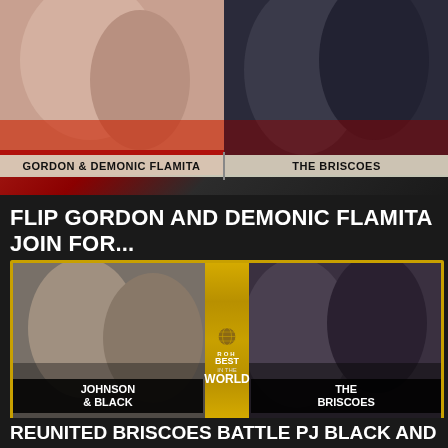[Figure (photo): Promotional wrestling match graphic showing Gordon & Demonic Flamita on the left vs The Briscoes on the right, with name labels at the bottom of the image]
FLIP GORDON AND DEMONIC FLAMITA JOIN FOR...
[Figure (photo): ROH Best in the World promotional graphic showing Johnson & Black on the left vs The Briscoes on the right, with gold border framing and ROH Best in the World logo in the center]
REUNITED BRISCOES BATTLE PJ BLACK AND BR...